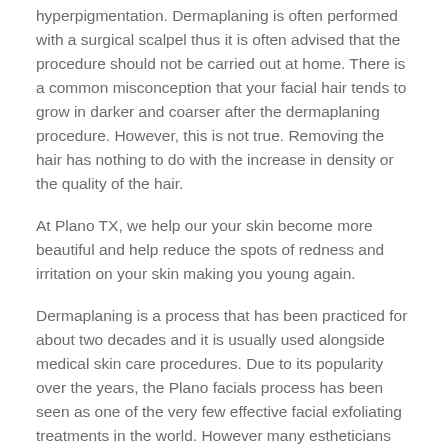hyperpigmentation. Dermaplaning is often performed with a surgical scalpel thus it is often advised that the procedure should not be carried out at home. There is a common misconception that your facial hair tends to grow in darker and coarser after the dermaplaning procedure. However, this is not true. Removing the hair has nothing to do with the increase in density or the quality of the hair.
At Plano TX, we help our your skin become more beautiful and help reduce the spots of redness and irritation on your skin making you young again.
Dermaplaning is a process that has been practiced for about two decades and it is usually used alongside medical skin care procedures. Due to its popularity over the years, the Plano facials process has been seen as one of the very few effective facial exfoliating treatments in the world. However many estheticians have no idea it exists and thus do not even use it. This is because it is often mistaken for